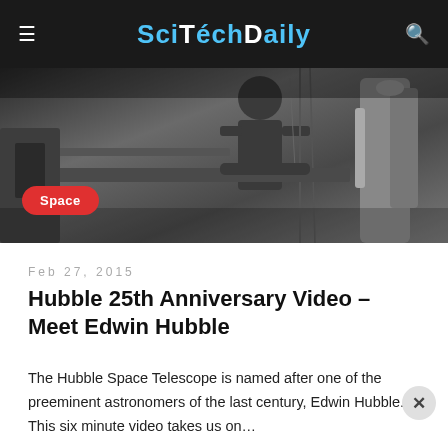SciTechDaily
[Figure (photo): Black and white photograph showing a person working with mechanical/industrial equipment, likely related to telescope machinery. A red 'Space' badge overlays the lower left of the image.]
Feb 27, 2015
Hubble 25th Anniversary Video – Meet Edwin Hubble
The Hubble Space Telescope is named after one of the preeminent astronomers of the last century, Edwin Hubble. This six minute video takes us on…